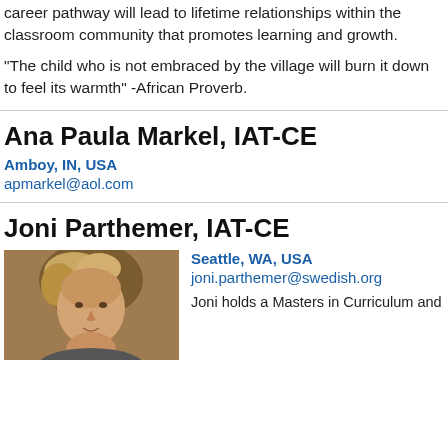career pathway will lead to lifetime relationships within the classroom community that promotes learning and growth.
“The child who is not embraced by the village will burn it down to feel its warmth” -African Proverb.
Ana Paula Markel, IAT-CE
Amboy, IN, USA
apmarkel@aol.com
Joni Parthemer, IAT-CE
Seattle, WA, USA
joni.parthemer@swedish.org
[Figure (photo): Headshot photo of Joni Parthemer, a woman with blonde/light brown hair]
Joni holds a Masters in Curriculum and